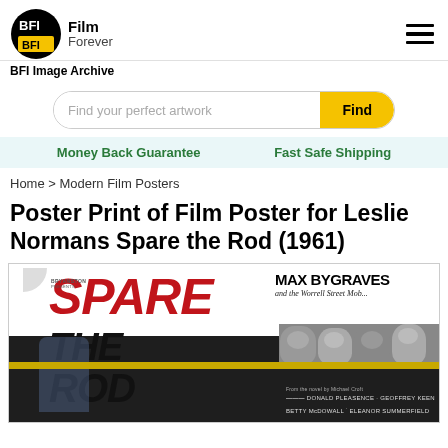BFI Film Forever — BFI Image Archive
Find your perfect artwork
Money Back Guarantee    Fast Safe Shipping
Home > Modern Film Posters
Poster Print of Film Poster for Leslie Normans Spare the Rod (1961)
[Figure (photo): Film poster for 'Spare the Rod' (1961) featuring large red italic text 'SPARE' and black text 'THE ROD', MAX BYGRAVES and the Worrell Street Mob credit at top right, faces of children in a strip, yellow horizontal stripe, and cast credits at bottom including Donald Pleasence, Geoffrey Keen, Betty McDowall, Eleanor Summerfield. Bryanston Presents label at top left.]